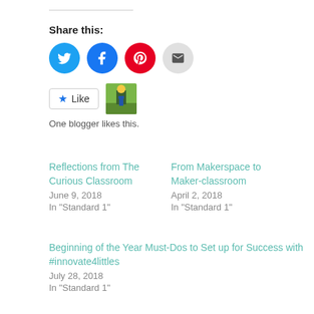Share this:
Social share icons: Twitter, Facebook, Pinterest, Email
Like | One blogger likes this.
Reflections from The Curious Classroom
June 9, 2018
In "Standard 1"
From Makerspace to Maker-classroom
April 2, 2018
In "Standard 1"
Beginning of the Year Must-Dos to Set up for Success with #innovate4littles
July 28, 2018
In "Standard 1"